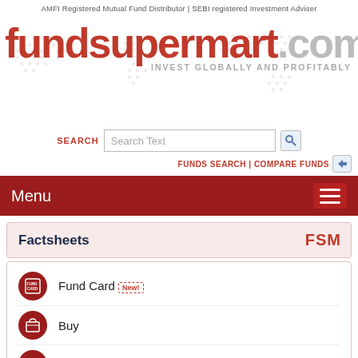AMFI Registered Mutual Fund Distributor | SEBI registered Investment Adviser
[Figure (logo): fundsupermart.com logo with tagline INVEST GLOBALLY AND PROFITABLY and world map background]
SEARCH Search Text FUNDS SEARCH | COMPARE FUNDS
Menu
Factsheets FSM
Fund Card New!
Buy
Glossary